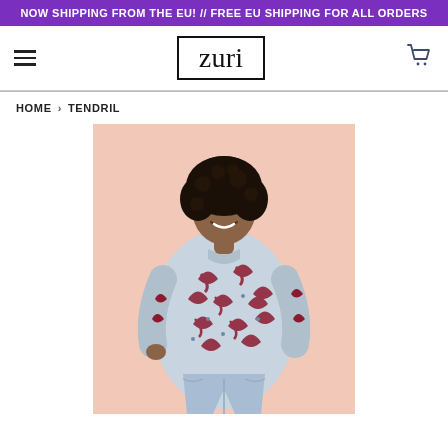NOW SHIPPING FROM THE EU! // FREE EU SHIPPING FOR ALL ORDERS
[Figure (logo): Zuri brand logo in a black rectangular border]
HOME › TENDRIL
[Figure (photo): A woman with curly hair smiling, wearing a patterned long-sleeve shirt with swirl designs in blue, burgundy, and white, and light blue jeans, standing against a pale pink background]